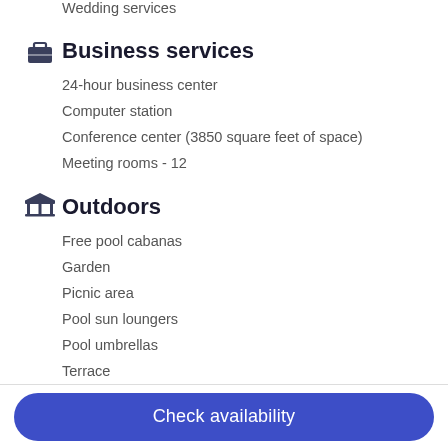Wedding services
Business services
24-hour business center
Computer station
Conference center (3850 square feet of space)
Meeting rooms - 12
Outdoors
Free pool cabanas
Garden
Picnic area
Pool sun loungers
Pool umbrellas
Terrace
Accessibility
Check availability